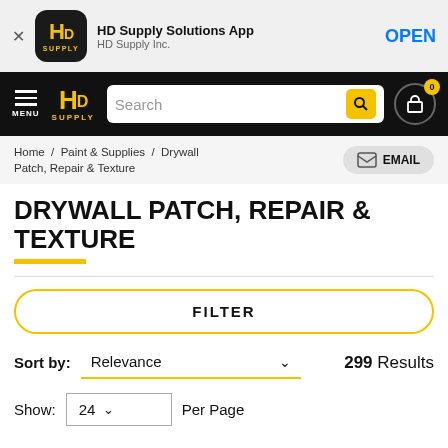[Figure (screenshot): HD Supply app banner with icon, app name, and OPEN button]
[Figure (screenshot): HD Supply website navigation bar with hamburger menu, logo, search bar, and cart icon]
Home / Paint & Supplies / Drywall Patch, Repair & Texture
DRYWALL PATCH, REPAIR & TEXTURE
FILTER
Sort by: Relevance  299 Results
Show: 24 Per Page